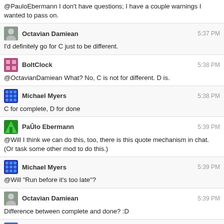@PauloEbermann I don't have questions; I have a couple warnings I wanted to pass on.
Octavian Damiean 5:37 PM
I'd definitely go for C just to be different.
BoltClock 5:38 PM
@OctavianDamiean What? No, C is not for different. D is.
Michael Myers 5:38 PM
C for complete, D for done
PaÛlo Ebermann 5:39 PM
@Will I think we can do this, too, there is this quote mechanism in chat. (Or task some other mod to do this.)
Michael Myers 5:39 PM
@Will "Run before it's too late"?
Octavian Damiean 5:39 PM
Difference between complete and done? :D
Als 5:41 PM
Another Q:
What are your thoughts about moderation in the chat? Should they be moderated at all?
user1228 5:41 PM
Nah, just some simple advice kind of things.